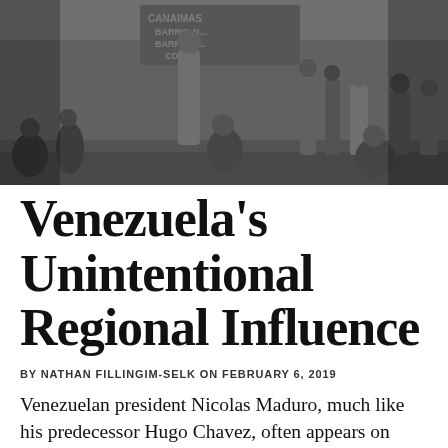[Figure (photo): Black and white photograph of people gathered in a Venezuelan urban street scene, sitting and standing near a graffiti-covered wall. Text on the wall partially visible: 'CANAIMAS', 'BARRIO', 'CDT'.]
Venezuela's Unintentional Regional Influence
BY NATHAN FILLINGIM-SELK ON FEBRUARY 6, 2019
Venezuelan president Nicolas Maduro, much like his predecessor Hugo Chavez, often appears on national television to address the country on the problems facing the nation.